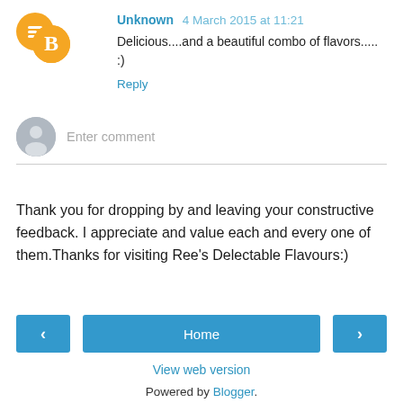Unknown  4 March 2015 at 11:21
Delicious....and a beautiful combo of flavors..... :)
Reply
[Figure (other): Gray avatar placeholder for entering a comment]
Enter comment
Thank you for dropping by and leaving your constructive feedback. I appreciate and value each and every one of them.Thanks for visiting Ree's Delectable Flavours:)
< Home >
View web version
Powered by Blogger.